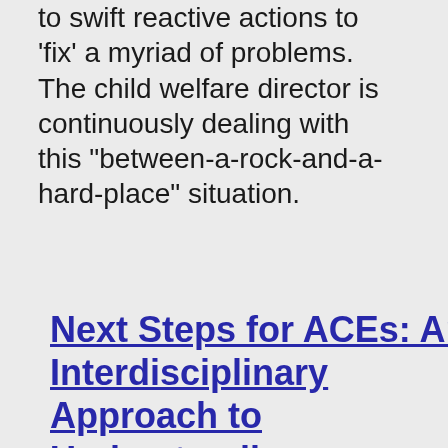to swift reactive actions to 'fix' a myriad of problems. The child welfare director is continuously dealing with this "between-a-rock-and-a-hard-place" situation.
Next Steps for ACEs: An Interdisciplinary Approach to Understanding,